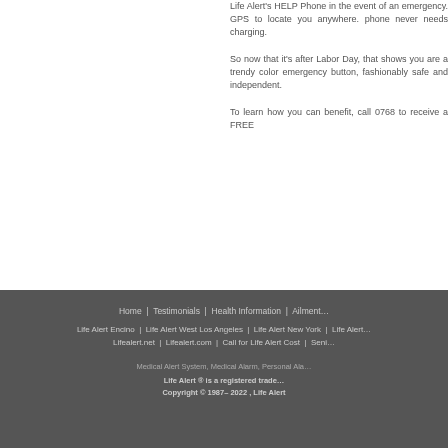Life Alert's HELP Phone in the event of an emergency. GPS to locate you anywhere. phone never needs charging.
So now that it's after Labor Day, that shows you are a trendy color emergency button, fashionably safe and independent.
To learn how you can benefit, call 0768 to receive a FREE
Home | Testimonials | Health Information | Ailments | Life Alert Encino | Life Alert West Los Angeles | Life Alert New York | Life Alert | Lifealert.net | Lifealert.com | Call for Life Alert Cost | Senior Medical Alert System, Medical Alarm, Personal Alarm Life Alert ® is a registered trademark. Copyright © 1987– 2022 , Life Alert